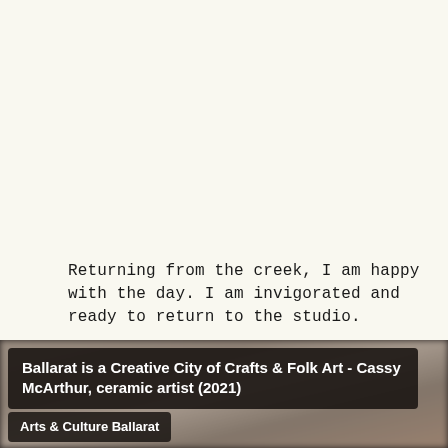Returning from the creek, I am happy with the day. I am invigorated and ready to return to the studio.
[Figure (screenshot): Video thumbnail overlay showing title 'Ballarat is a Creative City of Crafts & Folk Art - Cassy McArthur, ceramic artist (2021)' with channel label 'Arts & Culture Ballarat', blurred background image of a ceramic studio scene]